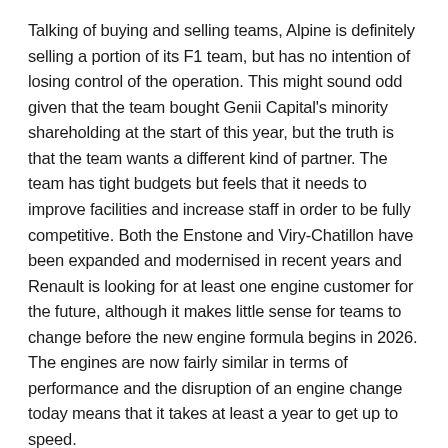Talking of buying and selling teams, Alpine is definitely selling a portion of its F1 team, but has no intention of losing control of the operation. This might sound odd given that the team bought Genii Capital's minority shareholding at the start of this year, but the truth is that the team wants a different kind of partner. The team has tight budgets but feels that it needs to improve facilities and increase staff in order to be fully competitive. Both the Enstone and Viry-Chatillon have been expanded and modernised in recent years and Renault is looking for at least one engine customer for the future, although it makes little sense for teams to change before the new engine formula begins in 2026. The engines are now fairly similar in terms of performance and the disruption of an engine change today means that it takes at least a year to get up to speed.